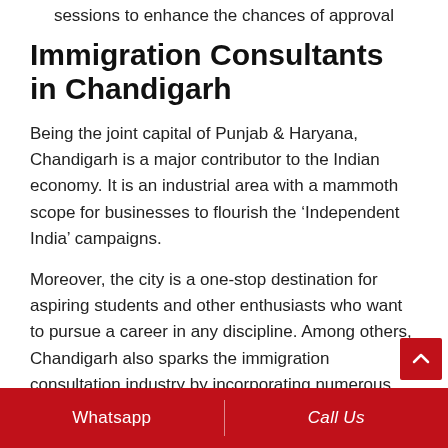sessions to enhance the chances of approval
Immigration Consultants in Chandigarh
Being the joint capital of Punjab & Haryana, Chandigarh is a major contributor to the Indian economy. It is an industrial area with a mammoth scope for businesses to flourish the ‘Independent India’ campaigns.
Moreover, the city is a one-stop destination for aspiring students and other enthusiasts who want to pursue a career in any discipline. Among others, Chandigarh also sparks the immigration consultation industry by incorporating numerous services
Whatsapp | Call Us